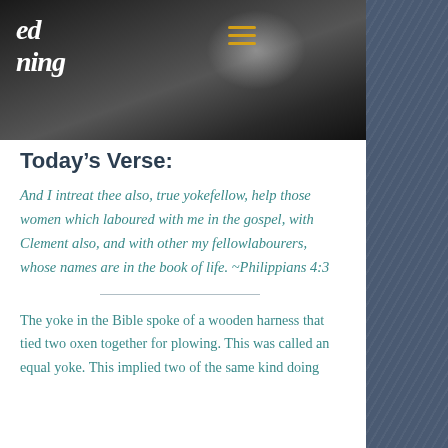[Figure (photo): Dark hero banner image with blurred background lights, white italic script logo text partially visible ('ed' and 'ning'), and a yellow/gold hamburger menu icon on the right side.]
Today’s Verse:
And I intreat thee also, true yokefellow, help those women which laboured with me in the gospel, with Clement also, and with other my fellowlabourers, whose names are in the book of life. ~Philippians 4:3
The yoke in the Bible spoke of a wooden harness that tied two oxen together for plowing. This was called an equal yoke. This implied two of the same kind doing